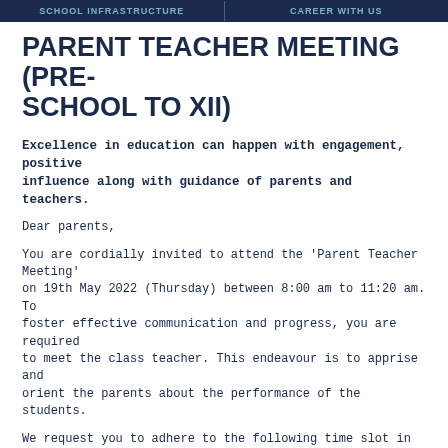SCHOOL INFRASTRUCTURE | CAREER WITH US
PARENT TEACHER MEETING (PRE-SCHOOL TO XII)
Excellence in education can happen with engagement, positive influence along with guidance of parents and teachers.
Dear parents,
You are cordially invited to attend the 'Parent Teacher Meeting' on 19th May 2022 (Thursday) between 8:00 am to 11:20 am. To foster effective communication and progress, you are required to meet the class teacher. This endeavour is to apprise and orient the parents about the performance of the students.
We request you to adhere to the following time slot in order to conduct the meeting smoothly:
| Roll Nos. | Timings |
| --- | --- |